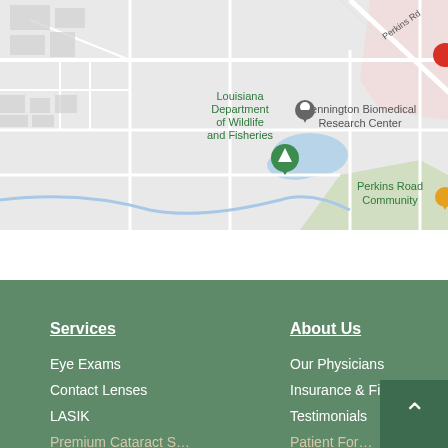[Figure (map): Google Maps screenshot showing Pennington Biomedical Research Center, Louisiana Department of Wildlife and Fisheries, and Perkins Road Community Park in Baton Rouge, LA. A green map pin is visible near the wildlife department.]
Services
About Us
Eye Exams
Contact Lenses
LASIK
Our Physicians
Insurance & Financial
Testimonials